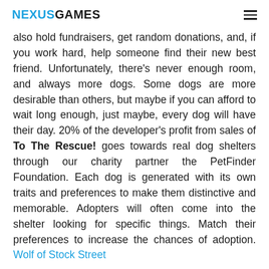NEXUSGAMES
also hold fundraisers, get random donations, and, if you work hard, help someone find their new best friend. Unfortunately, there's never enough room, and always more dogs. Some dogs are more desirable than others, but maybe if you can afford to wait long enough, just maybe, every dog will have their day. 20% of the developer's profit from sales of To The Rescue! goes towards real dog shelters through our charity partner the PetFinder Foundation. Each dog is generated with its own traits and preferences to make them distinctive and memorable. Adopters will often come into the shelter looking for specific things. Match their preferences to increase the chances of adoption. Wolf of Stock Street